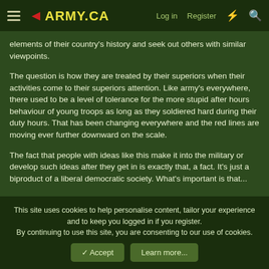◄ARMY.CA | Log in | Register
elements of their country's history and seek out others with similar viewpoints.
The question is how they are treated by their superiors when their activities come to their superiors attention. Like army's everywhere, there used to be a level of tolerance for the more stupid after hours behaviour of young troops as long as they soldiered hard during their duty hours. That has been changing everywhere and the red lines are moving ever further downward on the scale.
The fact that people with ideas like this make it into the military or develop such ideas after they get in is exactly that, a fact. It's just a biproduct of a liberal democratic society. What's important is that...
This site uses cookies to help personalise content, tailor your experience and to keep you logged in if you register.
By continuing to use this site, you are consenting to our use of cookies.